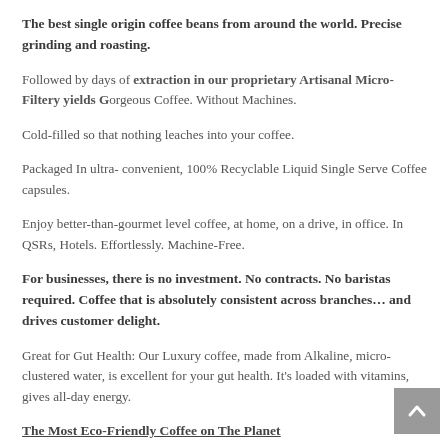The best single origin coffee beans from around the world. Precise grinding and roasting.
Followed by days of extraction in our proprietary Artisanal Micro-Filtery yields Gorgeous Coffee. Without Machines.
Cold-filled so that nothing leaches into your coffee.
Packaged In ultra- convenient, 100% Recyclable Liquid Single Serve Coffee capsules.
Enjoy better-than-gourmet level coffee, at home, on a drive, in office. In QSRs, Hotels. Effortlessly. Machine-Free.
For businesses, there is no investment. No contracts. No baristas required. Coffee that is absolutely consistent across branches… and drives customer delight.
Great for Gut Health: Our Luxury coffee, made from Alkaline, micro-clustered water, is excellent for your gut health. It's loaded with vitamins, gives all-day energy.
The Most Eco-Friendly Coffee on The Planet
100% Recyclable Coffee Pods: We care deeply about the Environment and Planet Earth. All packaging, including the pods